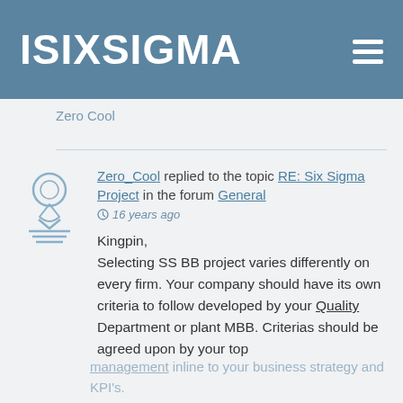ISIXSIGMA
Zero Cool
Zero_Cool replied to the topic RE: Six Sigma Project in the forum General
⊙ 16 years ago
Kingpin,
Selecting SS BB project varies differently on every firm. Your company should have its own criteria to follow developed by your Quality Department or plant MBB. Criterias should be agreed upon by your top management inline to your business strategy and KPI's.